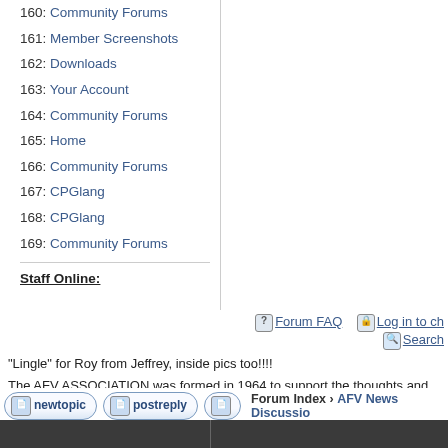160: Community Forums
161: Member Screenshots
162: Downloads
163: Your Account
164: Community Forums
165: Home
166: Community Forums
167: CPGlang
168: CPGlang
169: Community Forums
Staff Online:
No staff members are online!
Forum FAQ   Log in to ch   Search
"Lingle" for Roy from Jeffrey, inside pics too!!!!
The AFV ASSOCIATION was formed in 1964 to support the thoughts and topics, such as AFV drawings. The emphasis has always been on sharing German armor, Japanese AFVs, or whatever.
new topic   post reply   Forum Index › AFV News Discussio